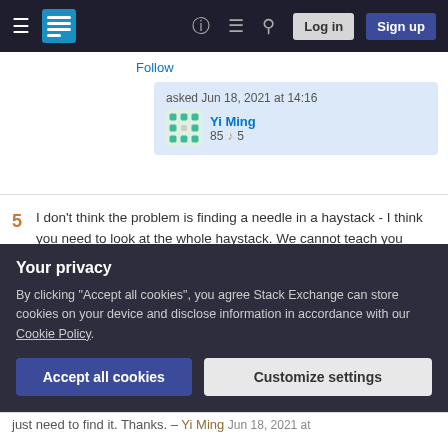Stack Exchange navigation bar with Log in and Sign up buttons
Follow
asked Jun 18, 2021 at 14:16
Yi Ming
85 5
5  I don't think the problem is finding a needle in a haystack - I think you need to look at the whole haystack. We cannot teach you everything you need to know to mix & master music in 6 paragraphs, or even 60. It takes about 10 years to become competent at something like this. – Tetsuijin Jun 18, 2021 at 14:55
Your privacy
By clicking "Accept all cookies", you agree Stack Exchange can store cookies on your device and disclose information in accordance with our Cookie Policy.
Accept all cookies   Customize settings
just need to find it. Thanks. – Yi Ming  Jun 18, 2021 at